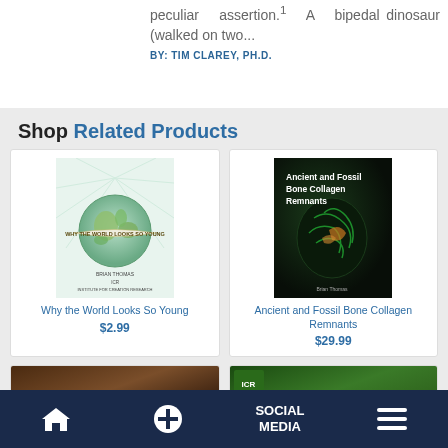peculiar assertion.¹ A bipedal dinosaur (walked on two...
BY: TIM CLAREY, PH.D.
Shop Related Products
[Figure (photo): Book cover: Why the World Looks So Young - shows a globe illustration with banner text]
Why the World Looks So Young
$2.99
[Figure (photo): Book cover: Ancient and Fossil Bone Collagen Remnants - dark cover with green microscopy image]
Ancient and Fossil Bone Collagen Remnants
$29.99
[Figure (photo): Partial book cover at bottom left - brown/dark tones, partially visible]
[Figure (photo): Partial book cover at bottom right - green tones, partially visible]
SOCIAL MEDIA | navigation bar with home, plus, social media, and menu icons